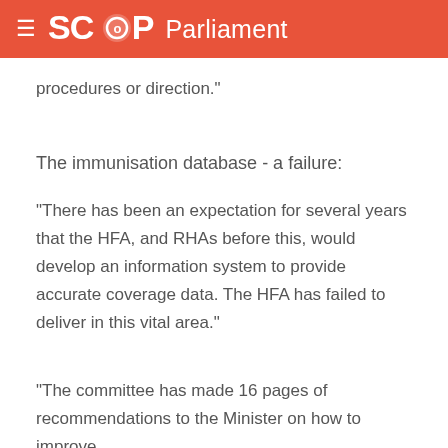SCOOP Parliament
procedures or direction."
The immunisation database - a failure:
"There has been an expectation for several years that the HFA, and RHAs before this, would develop an information system to provide accurate coverage data. The HFA has failed to deliver in this vital area."
"The committee has made 16 pages of recommendations to the Minister on how to improve